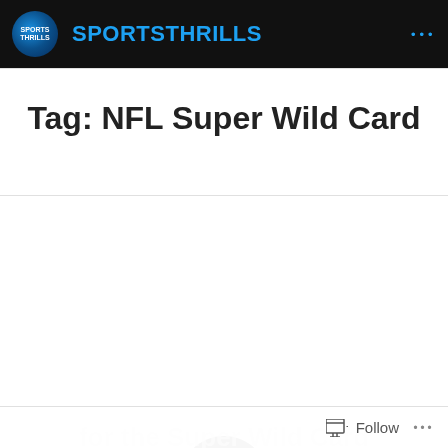SPORTSTHRILLS
Tag: NFL Super Wild Card
[Figure (illustration): Black circle with blue horizontal lines icon representing a blog post thumbnail]
Posted on September 8, 2021 in NFL
6 Bold Predictions
Follow